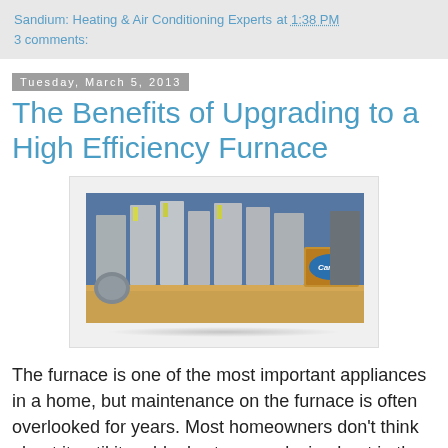Sandium: Heating & Air Conditioning Experts at 1:38 PM
3 comments:
Tuesday, March 5, 2013
The Benefits of Upgrading to a High Efficiency Furnace
[Figure (photo): Showroom display of Carrier heating and air conditioning units including furnaces and an AC unit, with a Carrier-branded box visible on the right.]
The furnace is one of the most important appliances in a home, but maintenance on the furnace is often overlooked for years. Most homeowners don't think about it until it suddenly stops producing heat in the middle of a cold winter